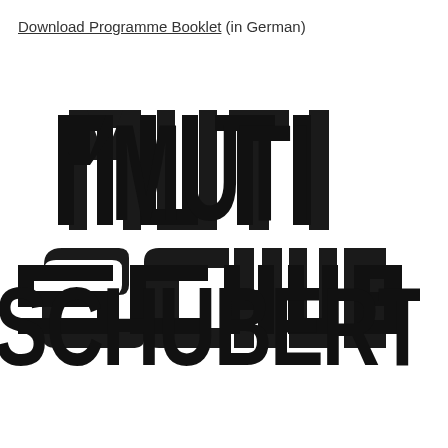Download Programme Booklet (in German)
[Figure (logo): Large bold condensed black text reading 'MUTI' on first line and 'SCHUBERT' on second line, styled as a graphic logo/title card]